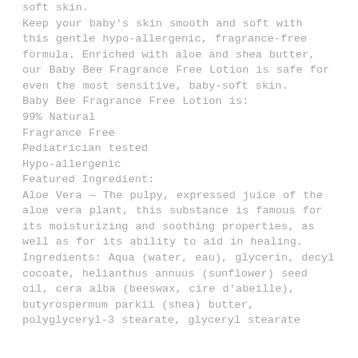soft skin. Keep your baby's skin smooth and soft with this gentle hypo-allergenic, fragrance-free formula. Enriched with aloe and shea butter, our Baby Bee Fragrance Free Lotion is safe for even the most sensitive, baby-soft skin.
Baby Bee Fragrance Free Lotion is:
99% Natural
Fragrance Free
Pediatrician tested
Hypo-allergenic
Featured Ingredient:
Aloe Vera — The pulpy, expressed juice of the aloe vera plant, this substance is famous for its moisturizing and soothing properties, as well as for its ability to aid in healing.
Ingredients: Aqua (water, eau), glycerin, decyl cocoate, helianthus annuus (sunflower) seed oil, cera alba (beeswax, cire d'abeille), butyrospermum parkii (shea) butter, polyglyceryl-3 stearate, glyceryl stearate